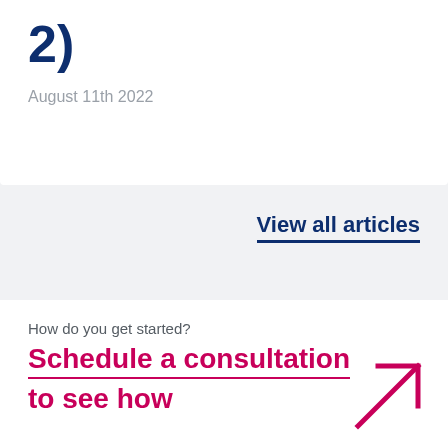2)
August 11th 2022
View all articles
How do you get started?
Schedule a consultation to see how